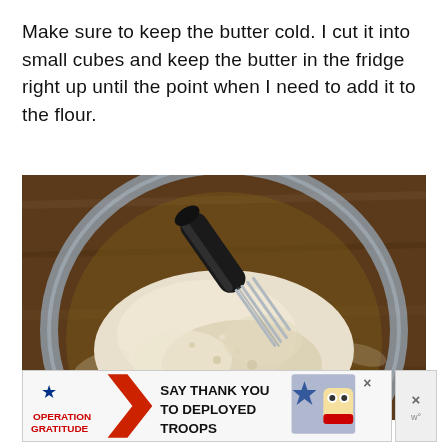Make sure to keep the butter cold. I cut it into small cubes and keep the butter in the fridge right up until the point when I need to add it to the flour.
[Figure (photo): Overhead view of a clear glass mixing bowl containing flour and butter being cut with a pastry blender/cutter with a black handle, sitting on a wooden surface.]
[Figure (other): Advertisement banner: Operation Gratitude - SAY THANK YOU TO DEPLOYED TROOPS, with patriotic imagery including stars and a cartoon owl character wearing American flag accessories.]